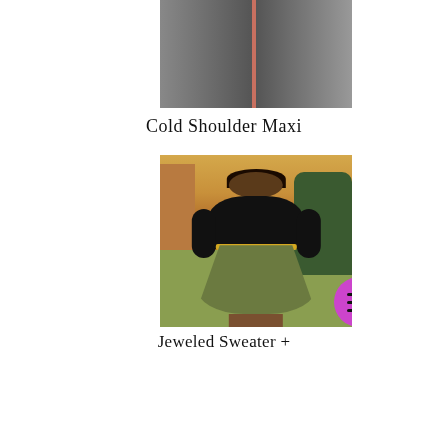[Figure (photo): Partial photo of a person wearing a black maxi dress with a coral/pink slit, shown from torso down, on a gray outdoor background]
Cold Shoulder Maxi
[Figure (photo): A smiling Black woman wearing a black cable-knit sweater with sequin details, an olive/army green pleated midi skirt, and a gold belt. She is standing outdoors on a lawn with trees and a building in a warm sunset light background.]
Jeweled Sweater +